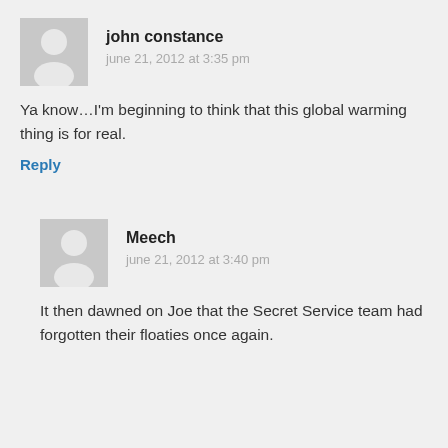john constance
june 21, 2012 at 3:35 pm
Ya know…I'm beginning to think that this global warming thing is for real.
Reply
Meech
june 21, 2012 at 3:40 pm
It then dawned on Joe that the Secret Service team had forgotten their floaties once again.